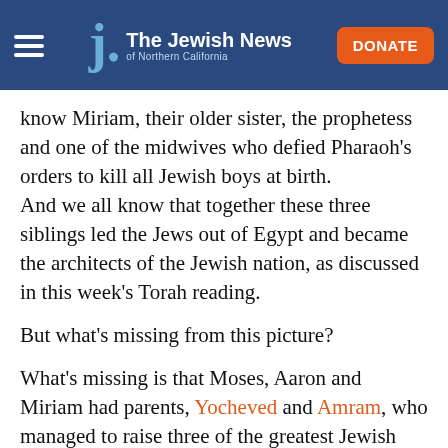The Jewish News of Northern California
know Miriam, their older sister, the prophetess and one of the midwives who defied Pharaoh's orders to kill all Jewish boys at birth. And we all know that together these three siblings led the Jews out of Egypt and became the architects of the Jewish nation, as discussed in this week's Torah reading.
But what's missing from this picture?
What's missing is that Moses, Aaron and Miriam had parents, Yocheved and Amram, who managed to raise three of the greatest Jewish leaders in history! Even the founding fathers and mothers o